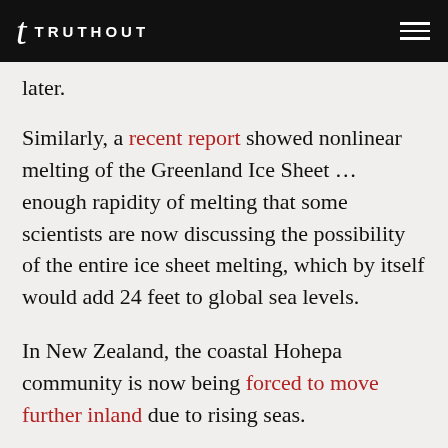t TRUTHOUT
later.
Similarly, a recent report showed nonlinear melting of the Greenland Ice Sheet ... enough rapidity of melting that some scientists are now discussing the possibility of the entire ice sheet melting, which by itself would add 24 feet to global sea levels.
In New Zealand, the coastal Hohepa community is now being forced to move further inland due to rising seas.